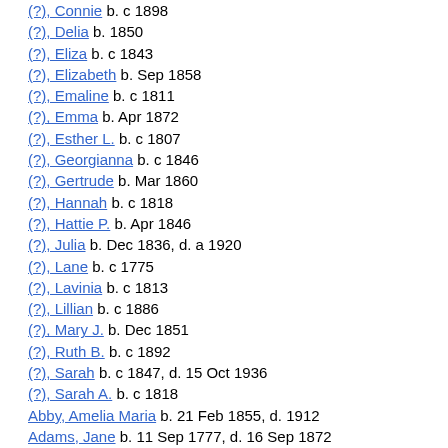(?), Connie  b. c 1898
(?), Delia  b. 1850
(?), Eliza  b. c 1843
(?), Elizabeth  b. Sep 1858
(?), Emaline  b. c 1811
(?), Emma  b. Apr 1872
(?), Esther L.  b. c 1807
(?), Georgianna  b. c 1846
(?), Gertrude  b. Mar 1860
(?), Hannah  b. c 1818
(?), Hattie P.  b. Apr 1846
(?), Julia  b. Dec 1836, d. a 1920
(?), Lane  b. c 1775
(?), Lavinia  b. c 1813
(?), Lillian  b. c 1886
(?), Mary J.  b. Dec 1851
(?), Ruth B.  b. c 1892
(?), Sarah  b. c 1847, d. 15 Oct 1936
(?), Sarah A.  b. c 1818
Abby, Amelia Maria  b. 21 Feb 1855, d. 1912
Adams, Jane  b. 11 Sep 1777, d. 16 Sep 1872
Adams, Rosanna
Alderman, Alexander  b. 1789, d. 5 Jan 1864